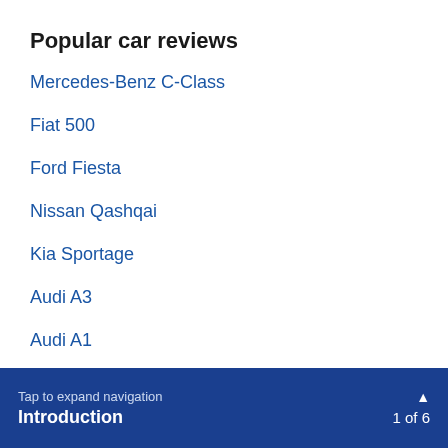Popular car reviews
Mercedes-Benz C-Class
Fiat 500
Ford Fiesta
Nissan Qashqai
Kia Sportage
Audi A3
Audi A1
Peugeot 3008
Tap to expand navigation  Introduction  1 of 6